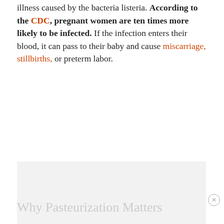illness caused by the bacteria listeria. According to the CDC, pregnant women are ten times more likely to be infected. If the infection enters their blood, it can pass to their baby and cause miscarriage, stillbirths, or preterm labor.
[Figure (other): Advertisement placeholder box with light gray background and 'ADVERTISEMENT' label centered]
Why Pasteurization Matters